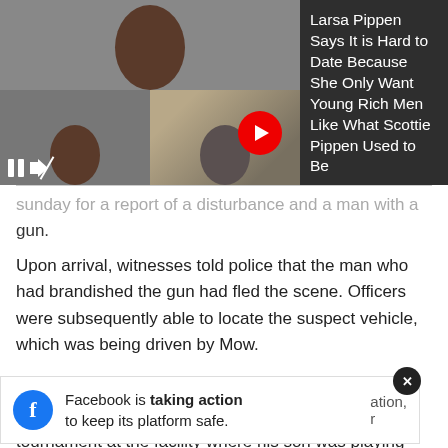[Figure (screenshot): ESPN Top Articles overlay with photo grid showing celebrity faces, pause/mute controls, play arrow button, and headline about Larsa Pippen]
sunday for a report of a disturbance and a man with a gun.
Upon arrival, witnesses told police that the man who had brandished the gun had fled the scene. Officers were subsequently able to locate the suspect vehicle, which was being driven by Mow.
The district attorney's office said further investigation revealed that Mow was attending a basketball tournament at the facility where his son was playing when he got into an altercation with a parent from an
Facebook is taking action to keep its platform safe.